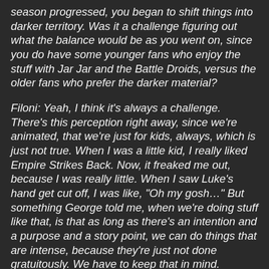season progressed, you began to shift things into darker territory. Was it a challenge figuring out what the balance would be as you went on, since you do have some younger fans who enjoy the stuff with Jar Jar and the Battle Droids, versus the older fans who prefer the darker material?
Filoni: Yeah, I think it's always a challenge. There's this perception right away, since we're animated, that we're just for kids, always, which is just not true. When I was a little kid, I really liked Empire Strikes Back. Now, it freaked me out, because I was really little. When I saw Luke's hand get cut off, I was like, "Oh my gosh..." But something George told me, when we're doing stuff like that, is that as long as there's an intention and a purpose and a story point, we can do things that are intense, because they're just not done gratuitously. We have to keep that in mind. Because I think ultimately, we're chasing some of the best fantasy/science fiction films ever made with our little television series and